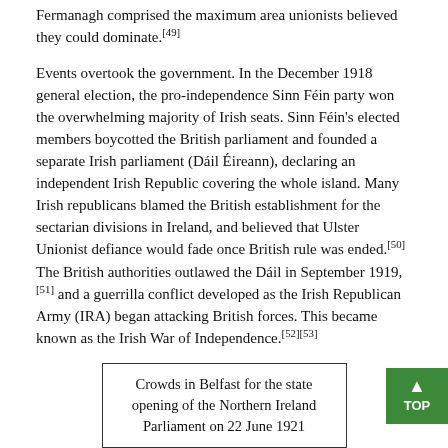Fermanagh comprised the maximum area unionists believed they could dominate.[49]
Events overtook the government. In the December 1918 general election, the pro-independence Sinn Féin party won the overwhelming majority of Irish seats. Sinn Féin's elected members boycotted the British parliament and founded a separate Irish parliament (Dáil Éireann), declaring an independent Irish Republic covering the whole island. Many Irish republicans blamed the British establishment for the sectarian divisions in Ireland, and believed that Ulster Unionist defiance would fade once British rule was ended.[50] The British authorities outlawed the Dáil in September 1919,[51] and a guerrilla conflict developed as the Irish Republican Army (IRA) began attacking British forces. This became known as the Irish War of Independence.[52][53]
Crowds in Belfast for the state opening of the Northern Ireland Parliament on 22 June 1921
Meanwhile, the Fourth Home Rule Bill passed through the